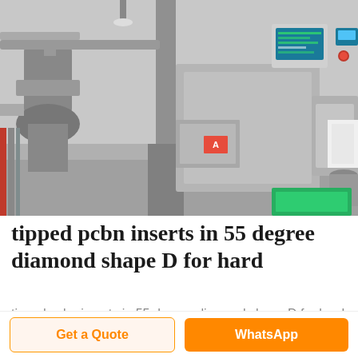[Figure (photo): Industrial packaging/filling machine in a factory setting, stainless steel equipment with conveyor belts, control panels with screens, and mechanical components.]
tipped pcbn inserts in 55 degree diamond shape D for hard
tipped pcbn inserts in 55 degree diamond shape D for hard turning ferrous metals of cast iron and hardened steel the cbn insert cutting edges are made with polycrystalline cubic boron nitride
Get a Quote
WhatsApp